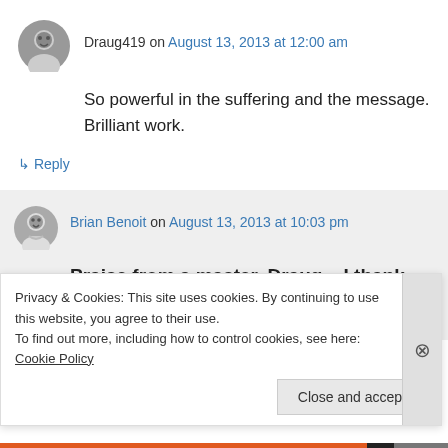Draug419 on August 13, 2013 at 12:00 am
So powerful in the suffering and the message. Brilliant work.
↳ Reply
Brian Benoit on August 13, 2013 at 10:03 pm
Praise from a master, Draug – I thank you!
Privacy & Cookies: This site uses cookies. By continuing to use this website, you agree to their use. To find out more, including how to control cookies, see here: Cookie Policy
Close and accept